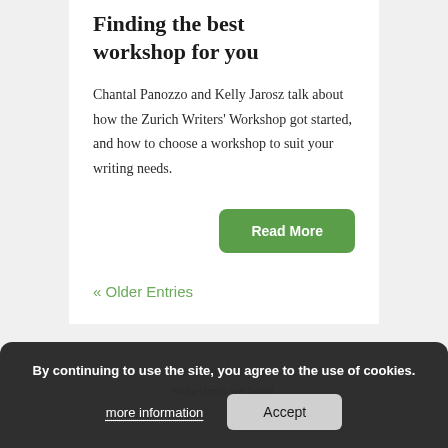Finding the best workshop for you
Chantal Panozzo and Kelly Jarosz talk about how the Zurich Writers' Workshop got started, and how to choose a workshop to suit your writing needs.
Read More
« Older Entries
to share with the pack. Sometimes we howl.
By continuing to use the site, you agree to the use of cookies.
more information
Accept